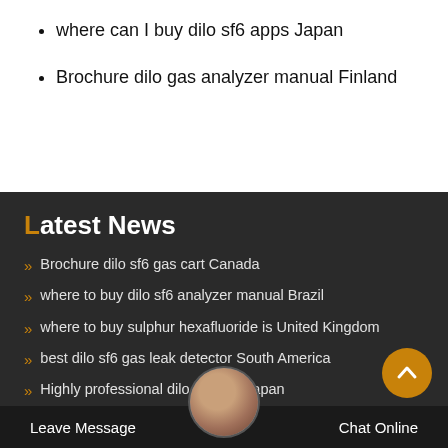where can I buy dilo sf6 apps Japan
Brochure dilo gas analyzer manual Finland
Latest News
Brochure dilo sf6 gas cart Canada
where to buy dilo sf6 analyzer manual Brazil
where to buy sulphur hexafluoride is United Kingdom
best dilo sf6 gas leak detector South America
Highly professional dilo sf6 bag Japan
oem dilo sf6 multi analyser manual pdf Thailand
next generation siemens 220 kv circuit breaker Colombia
Leave Message
Chat Online